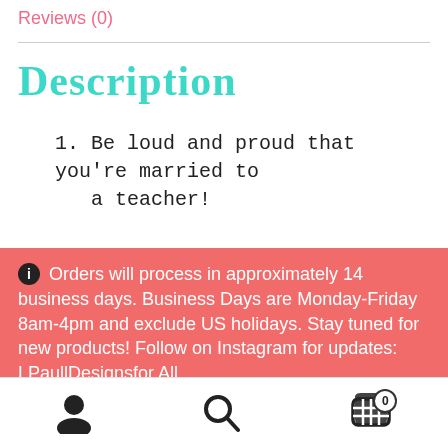Reviews (0)
Description
1. Be loud and proud that you're married to a teacher!
ⓘ Orders will process in approximately 14 business days. Business Days are Monday-Friday 8am-4pm and exclude US holidays. Stay tuned for new products! Follow on Instagram for updates: LPaullDesignsfor All
Dismiss
[Figure (infographic): Bottom navigation bar with user icon, search icon, and cart icon with badge showing 0]